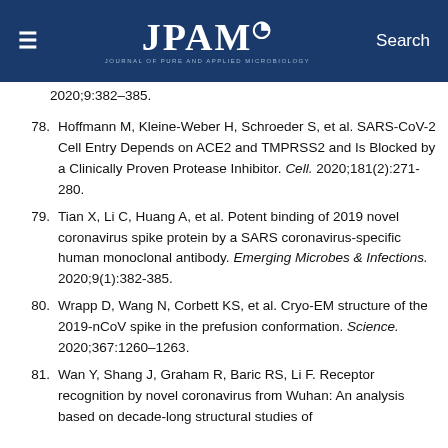JPAM — Journal of Pure and Applied Microbiology
78. Hoffmann M, Kleine-Weber H, Schroeder S, et al. SARS-CoV-2 Cell Entry Depends on ACE2 and TMPRSS2 and Is Blocked by a Clinically Proven Protease Inhibitor. Cell. 2020;181(2):271-280.
79. Tian X, Li C, Huang A, et al. Potent binding of 2019 novel coronavirus spike protein by a SARS coronavirus-specific human monoclonal antibody. Emerging Microbes & Infections. 2020;9(1):382-385.
80. Wrapp D, Wang N, Corbett KS, et al. Cryo-EM structure of the 2019-nCoV spike in the prefusion conformation. Science. 2020;367:1260–1263.
81. Wan Y, Shang J, Graham R, Baric RS, Li F. Receptor recognition by novel coronavirus from Wuhan: An analysis based on decade-long structural studies of